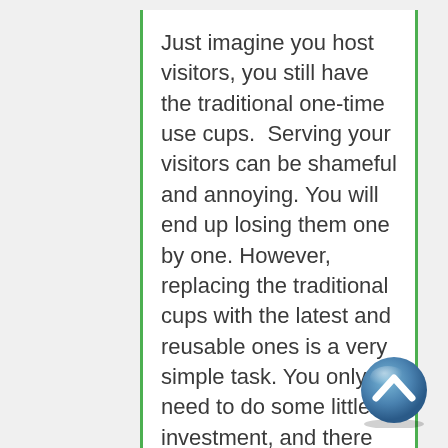Just imagine you host visitors, you still have the traditional one-time use cups.  Serving your visitors can be shameful and annoying. You will end up losing them one by one. However, replacing the traditional cups with the latest and reusable ones is a very simple task. You only need to do some little investment, and there you go! It should never stress you. They are extremely cheap and features high-quality materials.
Never to forget, conserving the environment is a vital thing within the community. Furthermore, on the plus side, reusable cups will provide you with the best experience ever
[Figure (other): Blue circular scroll-up button with a white upward chevron arrow icon]